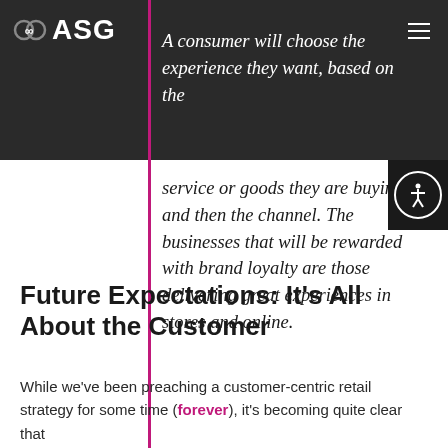ASG
A consumer will choose the experience they want, based on the service or goods they are buying, and then the channel. The businesses that will be rewarded with brand loyalty are those delivering great experiences in stores and online.
Future Expectations: It’s All About the Customer
While we’ve been preaching a customer-centric retail strategy for some time (forever), it’s becoming quite clear that